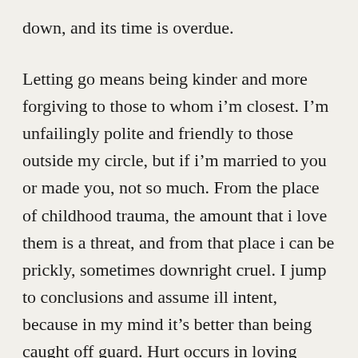down, and its time is overdue.
Letting go means being kinder and more forgiving to those to whom i'm closest. I'm unfailingly polite and friendly to those outside my circle, but if i'm married to you or made you, not so much. From the place of childhood trauma, the amount that i love them is a threat, and from that place i can be prickly, sometimes downright cruel. I jump to conclusions and assume ill intent, because in my mind it's better than being caught off guard. Hurt occurs in loving relationships – the intentional sort, too. It is not abuse, however. If i was being abused i would have left or had the offending party removed. I'm not